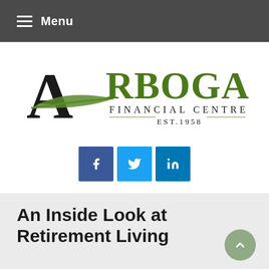Menu
[Figure (logo): Arbogast Financial Centre Est. 1958 logo with large stylized A and green leaf accent]
[Figure (infographic): Social media share buttons: Facebook (f), Twitter bird icon, LinkedIn (in)]
An Inside Look at Retirement Living